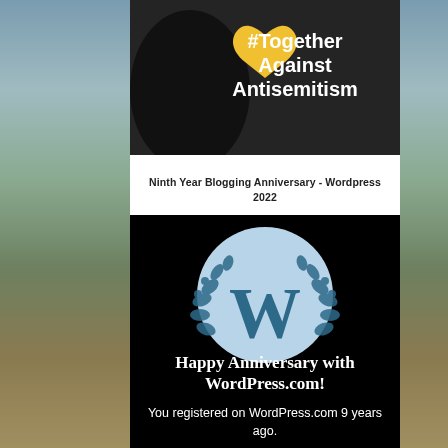[Figure (photo): Top portion of an image with '#Together Against Antisemitism' text on dark background with yellow heart icon]
Ninth Year Blogging Anniversary - Wordpress 2022
[Figure (illustration): WordPress 9th anniversary badge on black background with WordPress 'W' logo in light blue circle with laurel wreath, text reads 'Happy Anniversary with WordPress.com! You registered on WordPress.com 9 years ago.']